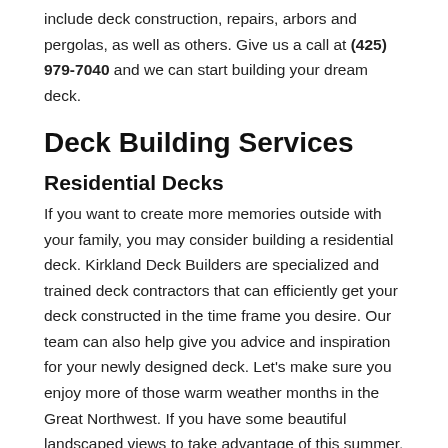include deck construction, repairs, arbors and pergolas, as well as others. Give us a call at (425) 979-7040 and we can start building your dream deck.
Deck Building Services
Residential Decks
If you want to create more memories outside with your family, you may consider building a residential deck. Kirkland Deck Builders are specialized and trained deck contractors that can efficiently get your deck constructed in the time frame you desire. Our team can also help give you advice and inspiration for your newly designed deck. Let's make sure you enjoy more of those warm weather months in the Great Northwest. If you have some beautiful landscaped views to take advantage of this summer, then let's get started!
Patio Decks